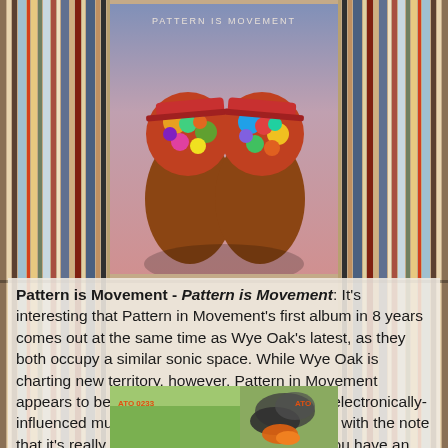[Figure (photo): Album cover for 'Pattern is Movement' by Pattern is Movement — two figures with colorful paint-covered heads facing each other, pink/lavender gradient background with artist name at top]
Pattern is Movement - Pattern is Movement: It's interesting that Pattern in Movement's first album in 8 years comes out at the same time as Wye Oak's latest, as they both occupy a similar sonic space. While Wye Oak is charting new territory, however, Pattern in Movement appears to be continuing in making some fine electronically-influenced music. Worth a listen in any regards with the note that it's really not going to be for everyone. If you have an interest in the sort of synthy indie pop that's become a thing, give this a listen.
[Figure (photo): Partial view of another album cover at the bottom — green field with smoke/fire, orange text 'ATO 0233' on left and additional orange text on right]